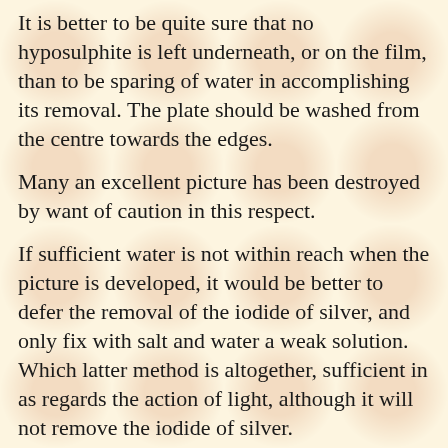It is better to be quite sure that no hyposulphite is left underneath, or on the film, than to be sparing of water in accomplishing its removal. The plate should be washed from the centre towards the edges.
Many an excellent picture has been destroyed by want of caution in this respect.
If sufficient water is not within reach when the picture is developed, it would be better to defer the removal of the iodide of silver, and only fix with salt and water a weak solution. Which latter method is altogether, sufficient in as regards the action of light, although it will not remove the iodide of silver.